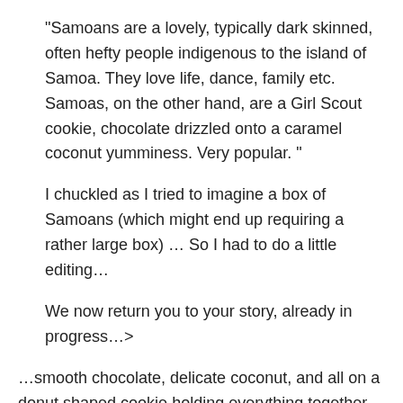“Samoans are a lovely, typically dark skinned, often hefty people indigenous to the island of Samoa. They love life, dance, family etc. Samoas, on the other hand, are a Girl Scout cookie, chocolate drizzled onto a caramel coconut yumminess. Very popular. ”
I chuckled as I tried to imagine a box of Samoans (which might end up requiring a rather large box) … So I had to do a little editing…
We now return you to your story, already in progress…>
…smooth chocolate, delicate coconut, and all on a donut shaped cookie holding everything together.  The mixture of the flavors, textures, and smells is – as my